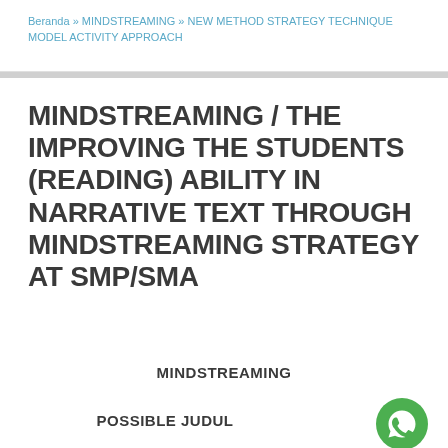Beranda » MINDSTREAMING » NEW METHOD STRATEGY TECHNIQUE MODEL ACTIVITY APPROACH
MINDSTREAMING / THE IMPROVING THE STUDENTS (READING) ABILITY IN NARRATIVE TEXT THROUGH MINDSTREAMING STRATEGY AT SMP/SMA
MINDSTREAMING
POSSIBLE JUDUL
[Figure (logo): WhatsApp logo icon — green circle with white phone handset symbol]